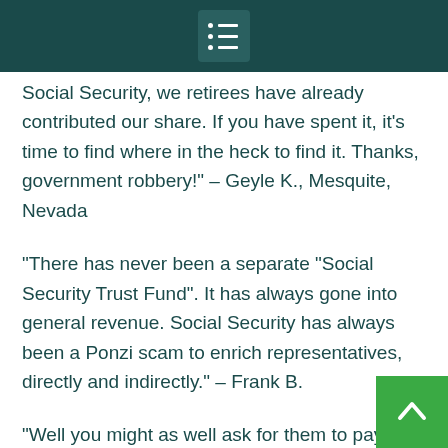Social Security, we retirees have already contributed our share. If you have spent it, it’s time to find where in the heck to find it. Thanks, government robbery!” – Geyle K., Mesquite, Nevada
“There has never been a separate “Social Security Trust Fund”. It has always gone into general revenue. Social Security has always been a Ponzi scam to enrich representatives, directly and indirectly.” – Frank B.
“Well you might as well ask for them to pay it back with interest while you’re at it. Not